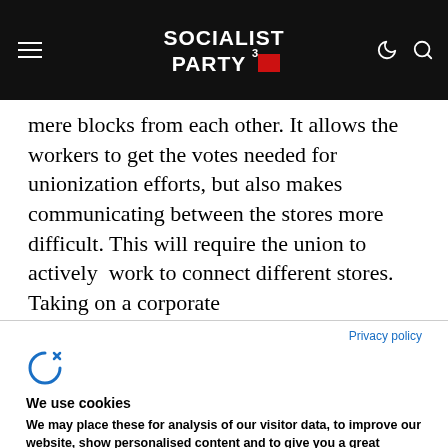SOCIALIST PARTY
mere blocks from each other. It allows the workers to get the votes needed for unionization efforts, but also makes communicating between the stores more difficult. This will require the union to actively work to connect different stores. Taking on a corporate
Privacy policy
[Figure (logo): Cookie control icon - stylized C with arrow]
We use cookies
We may place these for analysis of our visitor data, to improve our website, show personalised content and to give you a great website experience. For more information about the cookies we use open the settings.
Ok, continue
Deny
No, adjust